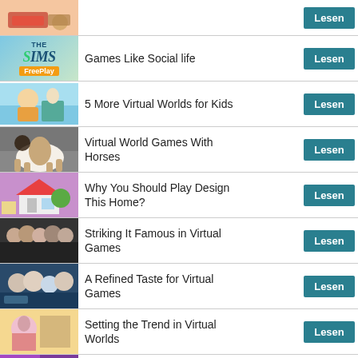Lesen
Games Like Social life — Lesen
5 More Virtual Worlds for Kids — Lesen
Virtual World Games With Horses — Lesen
Why You Should Play Design This Home? — Lesen
Striking It Famous in Virtual Games — Lesen
A Refined Taste for Virtual Games — Lesen
Setting the Trend in Virtual Worlds — Lesen
Live Concerts in Virtual Worlds